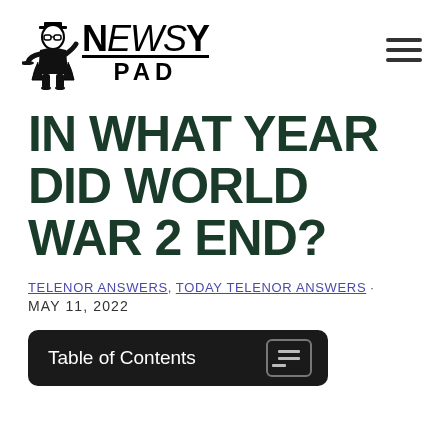[Figure (logo): NewsyPad logo with illustrated character and bold text reading NEWSY PAD with underline]
IN WHAT YEAR DID WORLD WAR 2 END?
TELENOR ANSWERS, TODAY TELENOR ANSWERS · MAY 11, 2022
Table of Contents